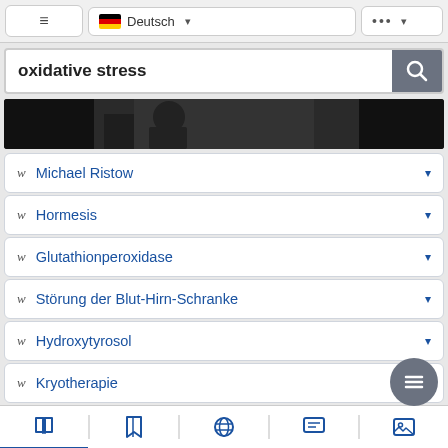≡  🇩🇪 Deutsch ▾  ••• ▾
oxidative stress [search]
[Figure (photo): A dark grayscale partial image strip showing a person, cropped]
w  Michael Ristow
w  Hormesis
w  Glutathionperoxidase
w  Störung der Blut-Hirn-Schranke
w  Hydroxytyrosol
w  Kryotherapie
📖  🔖  🌐  💬  🖼️